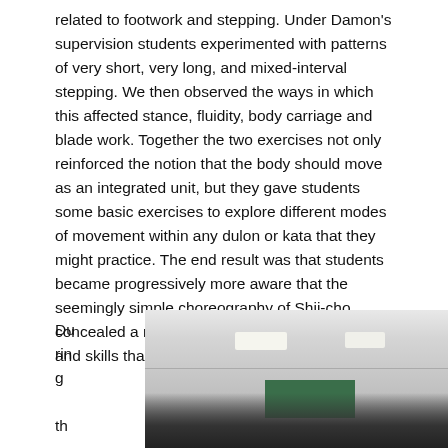related to footwork and stepping. Under Damon's supervision students experimented with patterns of very short, very long, and mixed-interval stepping. We then observed the ways in which this affected stance, fluidity, body carriage and blade work. Together the two exercises not only reinforced the notion that the body should move as an integrated unit, but they gave students some basic exercises to explore different modes of movement within any dulon or kata that they might practice. The end result was that students became progressively more aware that the seemingly simple choreography of Shii-cho concealed a much broader range of concepts and skills than they had previously understood.
During
[Figure (photo): A classroom or gymnasium setting with people (students) visible in the lower portion. Overhead fluorescent lights illuminate the ceiling. A green board is visible in the background.]